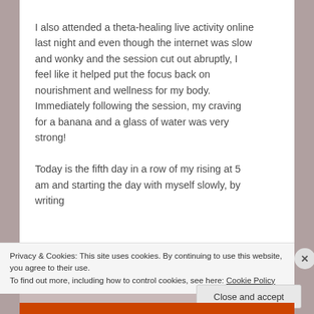I also attended a theta-healing live activity online last night and even though the internet was slow and wonky and the session cut out abruptly, I feel like it helped put the focus back on nourishment and wellness for my body. Immediately following the session, my craving for a banana and a glass of water was very strong!

Today is the fifth day in a row of my rising at 5 am and starting the day with myself slowly, by writing
Privacy & Cookies: This site uses cookies. By continuing to use this website, you agree to their use.
To find out more, including how to control cookies, see here: Cookie Policy
Close and accept